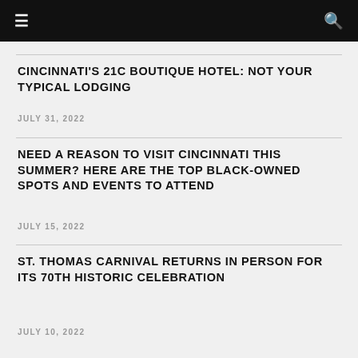☰ 🔍
CINCINNATI'S 21C BOUTIQUE HOTEL: NOT YOUR TYPICAL LODGING
JULY 31, 2022
NEED A REASON TO VISIT CINCINNATI THIS SUMMER? HERE ARE THE TOP BLACK-OWNED SPOTS AND EVENTS TO ATTEND
JULY 15, 2022
ST. THOMAS CARNIVAL RETURNS IN PERSON FOR ITS 70TH HISTORIC CELEBRATION
JULY 10, 2022